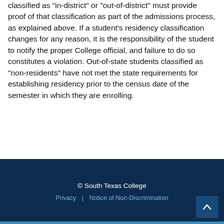classified as "in-district" or "out-of-district" must provide proof of that classification as part of the admissions process, as explained above. If a student's residency classification changes for any reason, it is the responsibility of the student to notify the proper College official, and failure to do so constitutes a violation. Out-of-state students classified as "non-residents" have not met the state requirements for establishing residency prior to the census date of the semester in which they are enrolling.
© South Texas College | Privacy | Notice of Non-Discrimination